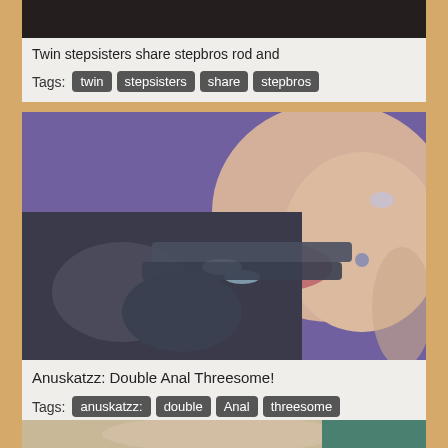[Figure (photo): Top portion of a video thumbnail, dark background]
Twin stepsisters share stepbros rod and
Tags: twin  stepsisters  share  stepbros
[Figure (photo): Close-up photo of a person with facial piercings and tattooed hands]
Anuskatzz: Double Anal Threesome!
Tags: anuskatzz:  double  Anal  threesome
[Figure (photo): Bottom partial thumbnail showing teal fabric]